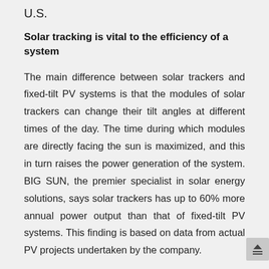U.S.
Solar tracking is vital to the efficiency of a system
The main difference between solar trackers and fixed-tilt PV systems is that the modules of solar trackers can change their tilt angles at different times of the day. The time during which modules are directly facing the sun is maximized, and this in turn raises the power generation of the system. BIG SUN, the premier specialist in solar energy solutions, says solar trackers has up to 60% more annual power output than that of fixed-tilt PV systems. This finding is based on data from actual PV projects undertaken by the company.
Solar trackers are divided into two main types: single-axis trackers (SAT) and dual-axis trackers(DAT). The table